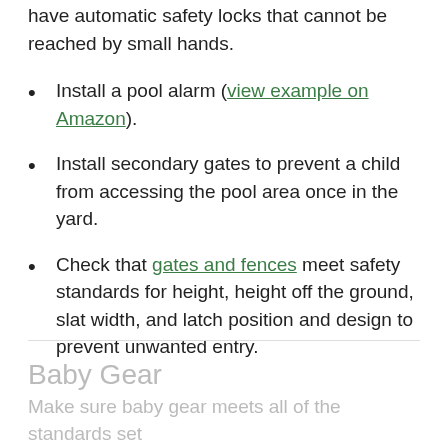Verify that all doors leading to the pool area have automatic safety locks that cannot be reached by small hands.
Install a pool alarm (view example on Amazon).
Install secondary gates to prevent a child from accessing the pool area once in the yard.
Check that gates and fences meet safety standards for height, height off the ground, slat width, and latch position and design to prevent unwanted entry.
Baby Gear
Make sure baby gear meets all of the standards set